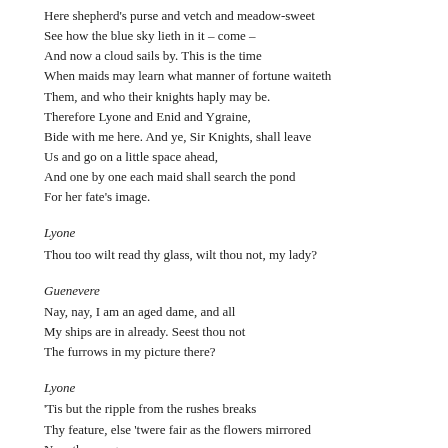Here shepherd's purse and vetch and meadow-sweet
See how the blue sky lieth in it – come –
And now a cloud sails by. This is the time
When maids may learn what manner of fortune waiteth
Them, and who their knights haply may be.
Therefore Lyone and Enid and Ygraine,
Bide with me here. And ye, Sir Knights, shall leave
Us and go on a little space ahead,
And one by one each maid shall search the pond
For her fate's image.
Lyone
Thou too wilt read thy glass, wilt thou not, my lady?
Guenevere
Nay, nay, I am an aged dame, and all
My ships are in already. Seest thou not
The furrows in my picture there?
Lyone
'Tis but the ripple from the rushes breaks
Thy feature, else 'twere fair as the flowers mirrored
Near the marge.